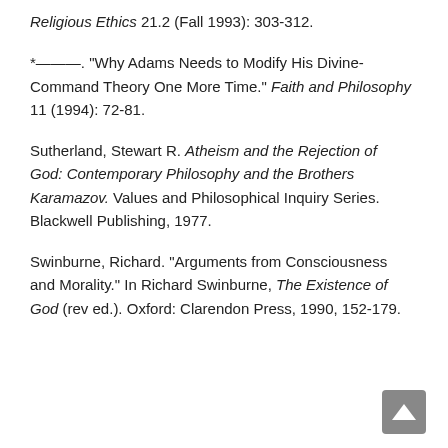Religious Ethics 21.2 (Fall 1993): 303-312.
*———. "Why Adams Needs to Modify His Divine-Command Theory One More Time." Faith and Philosophy 11 (1994): 72-81.
Sutherland, Stewart R. Atheism and the Rejection of God: Contemporary Philosophy and the Brothers Karamazov. Values and Philosophical Inquiry Series. Blackwell Publishing, 1977.
Swinburne, Richard. "Arguments from Consciousness and Morality." In Richard Swinburne, The Existence of God (rev ed.). Oxford: Clarendon Press, 1990, 152-179.